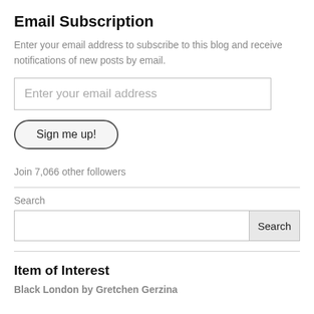Email Subscription
Enter your email address to subscribe to this blog and receive notifications of new posts by email.
[Figure (other): Email address input field with placeholder text 'Enter your email address']
[Figure (other): Button labeled 'Sign me up!' with rounded pill shape and dark border]
Join 7,066 other followers
Search
[Figure (other): Search input box with a 'Search' button on the right]
Item of Interest
Black London by Gretchen Gerzina